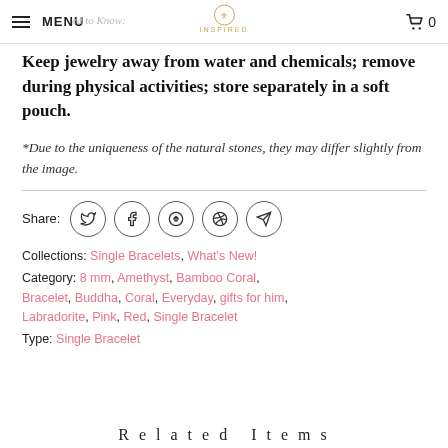MENU | INSPIRED | 0
Keep jewelry away from water and chemicals; remove during physical activities; store separately in a soft pouch.
*Due to the uniqueness of the natural stones, they may differ slightly from the image.
Share:
Collections: Single Bracelets, What's New!
Category: 8 mm, Amethyst, Bamboo Coral, Bracelet, Buddha, Coral, Everyday, gifts for him, Labradorite, Pink, Red, Single Bracelet
Type: Single Bracelet
Related Items